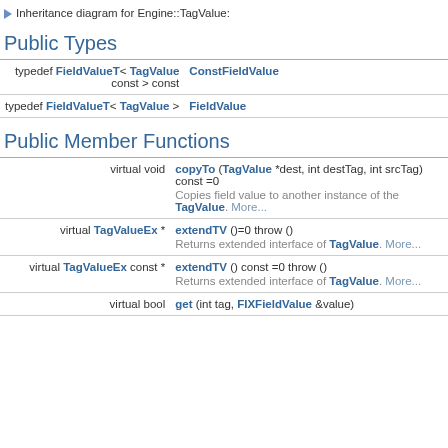▶ Inheritance diagram for Engine::TagValue:
Public Types
| Return type | Member |
| --- | --- |
| typedef FieldValueT< TagValue const > const | ConstFieldValue |
| typedef FieldValueT< TagValue > | FieldValue |
Public Member Functions
| Return type | Member |
| --- | --- |
| virtual void | copyTo (TagValue *dest, int destTag, int srcTag) const =0
Copies field value to another instance of the TagValue. More... |
| virtual TagValueEx * | extendTV ()=0 throw ()
Returns extended interface of TagValue. More... |
| virtual TagValueEx const * | extendTV () const =0 throw ()
Returns extended interface of TagValue. More... |
| virtual bool | get (int tag, FIXFieldValue &value) |